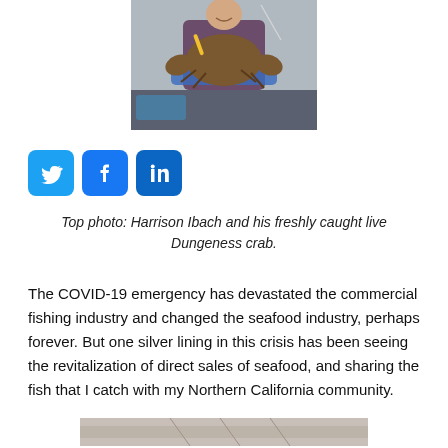[Figure (photo): Person holding a large live Dungeness crab on a boat, wearing blue gloves and a jacket]
[Figure (infographic): Social media sharing icons: Twitter (bird), Facebook (f), LinkedIn (in)]
Top photo: Harrison Ibach and his freshly caught live Dungeness crab.
The COVID-19 emergency has devastated the commercial fishing industry and changed the seafood industry, perhaps forever. But one silver lining in this crisis has been seeing the revitalization of direct sales of seafood, and sharing the fish that I catch with my Northern California community.
[Figure (photo): Partial bottom image strip, partially visible]